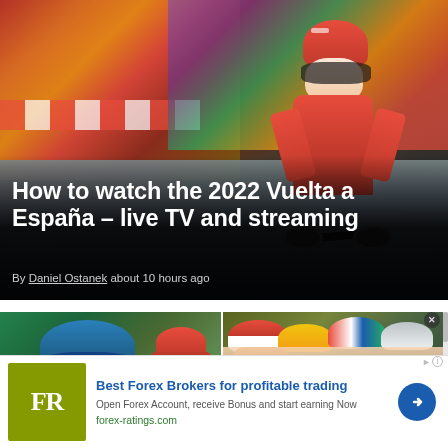[Figure (photo): Cyclist in red jersey and red helmet racing at Vuelta a España 2022, with crowd in background]
How to watch the 2022 Vuelta a España – live TV and streaming
By Daniel Ostanek about 10 hours ago
[Figure (photo): Two side-by-side cycling photos: left shows a cyclist in blue helmet and red Lotto jersey with blue visor sunglasses; right shows a group of cyclists with colorful helmets in red, yellow, purple, and white]
Best Forex Brokers for profitable trading
Open Forex Account, receive Bonus and start earning Now
forex-ratings.com